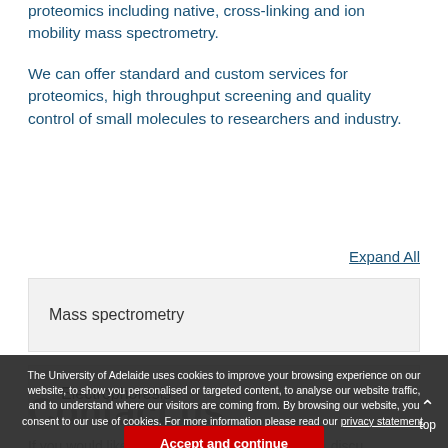proteomics including native, cross-linking and ion mobility mass spectrometry.
We can offer standard and custom services for proteomics, high throughput screening and quality control of small molecules to researchers and industry.
Expand All
Mass spectrometry
Electrophoresis
Contact us
If you would like to carry out any of our services, discuss the capabilities in furthering your methodolog... or simply explore the possibilities available please contact
The University of Adelaide uses cookies to improve your browsing experience on our website, to show you personalised or targeted content, to analyse our website traffic, and to understand where our visitors are coming from. By browsing our website, you consent to our use of cookies. For more information please read our privacy statement.
Accept and continue